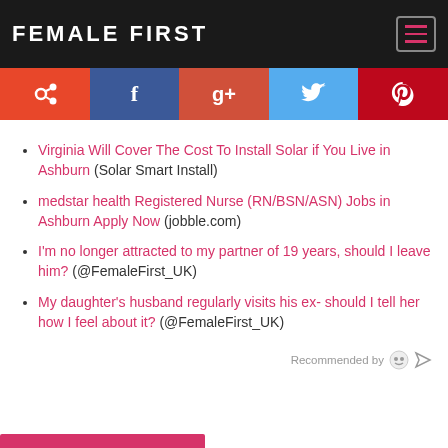FEMALE FIRST
[Figure (other): Social share bar with StumbleUpon, Facebook, Google+, Twitter, Pinterest buttons]
Virginia Will Cover The Cost To Install Solar if You Live in Ashburn (Solar Smart Install)
medstar health Registered Nurse (RN/BSN/ASN) Jobs in Ashburn Apply Now (jobble.com)
I'm no longer attracted to my partner of 19 years, should I leave him? (@FemaleFirst_UK)
My daughter's husband regularly visits his ex- should I tell her how I feel about it? (@FemaleFirst_UK)
Recommended by